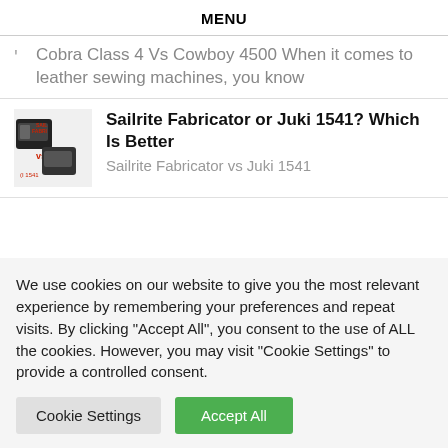MENU
Cobra Class 4 Vs Cowboy 4500 When it comes to leather sewing machines, you know
Sailrite Fabricator or Juki 1541? Which Is Better
Sailrite Fabricator vs Juki 1541
We use cookies on our website to give you the most relevant experience by remembering your preferences and repeat visits. By clicking “Accept All”, you consent to the use of ALL the cookies. However, you may visit “Cookie Settings” to provide a controlled consent.
Cookie Settings | Accept All